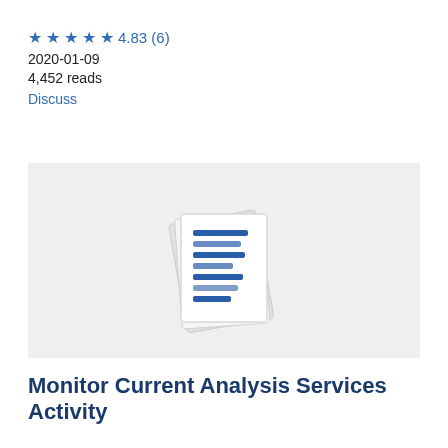★★★★★ 4.83 (6)
2020-01-09
4,452 reads
Discuss
[Figure (illustration): Document/report icon showing stacked pages with blue lines, on a light gray background]
Monitor Current Analysis Services Activity